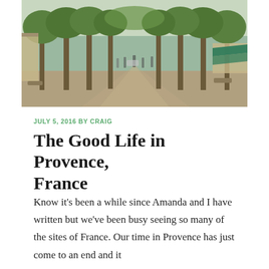[Figure (photo): A tree-lined pedestrian boulevard in Provence, France, with plane trees forming a canopy over the walkway. People strolling, café awnings visible on the right, sunny summer day.]
JULY 5, 2016 BY CRAIG
The Good Life in Provence, France
Know it's been a while since Amanda and I have written but we've been busy seeing so many of the sites of France. Our time in Provence has just come to an end and it